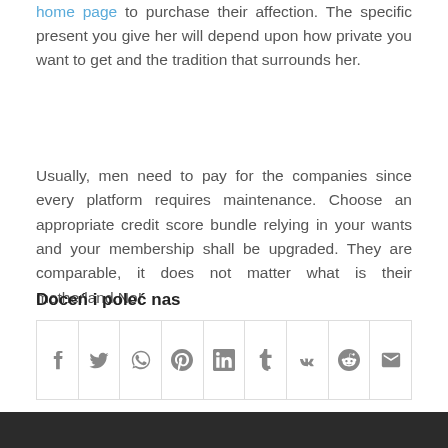home page to purchase their affection. The specific present you give her will depend upon how private you want to get and the tradition that surrounds her.
Usually, men need to pay for the companies since every platform requires maintenance. Choose an appropriate credit score bundle relying in your wants and your membership shall be upgraded. They are comparable, it does not matter what is their motherland.No!
Doceń i poleć nas
[Figure (other): Social sharing buttons row: Facebook, Twitter, WhatsApp, Pinterest, LinkedIn, Tumblr, VK, Reddit, Email]